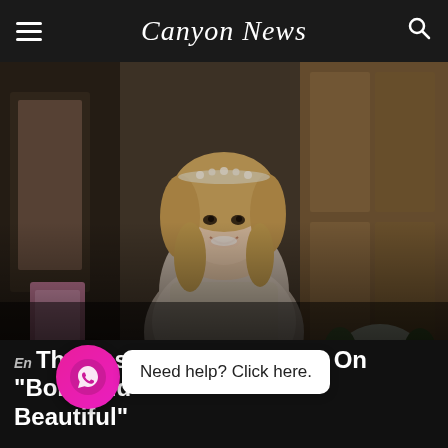Canyon News
[Figure (photo): A blonde woman in a wedding dress with a floral headpiece, smiling, standing in front of wooden doors with flowers nearby — appears to be a still from TV show 'Bold and Beautiful']
Thomas' Sinister Scheme On "Bold And Beautiful"